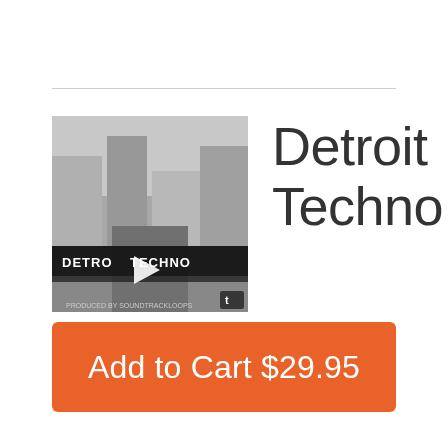[Figure (illustration): Album cover thumbnail for Detroit Techno showing a grayscale urban/industrial image with a play button overlay and text 'DETROIT TECHNO' on a banner. Small logo in bottom-right corner.]
Detroit Techno
by SoundtrackLoops  |  ℹ
Add to Cart $29.95